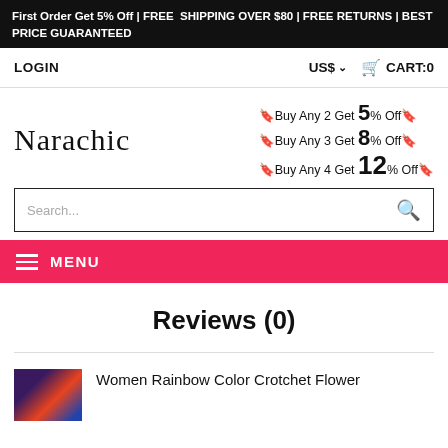First Order Get 5% Off | FREE SHIPPING OVER $80 | FREE RETURNS | BEST PRICE GUARANTEED
LOGIN | US$ | CART:0
[Figure (logo): Narachic brand logo in serif font]
🔖Buy Any 2 Get 5% Off🔖
🔖Buy Any 3 Get 8% Off🔖
🔖Buy Any 4 Get 12% Off🔖
Search...
MENU
Reviews (0)
Women Rainbow Color Crotchet Flower